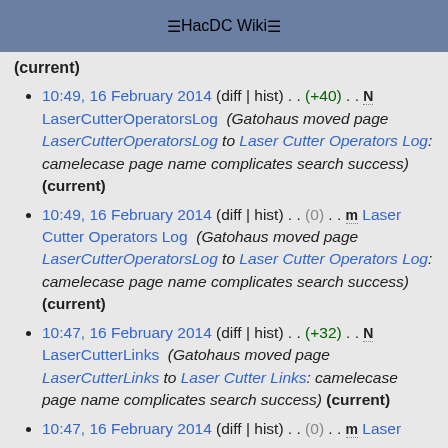HacDC Wiki
(current)
10:49, 16 February 2014 (diff | hist) . . (+40) . . N LaserCutterOperatorsLog (Gatohaus moved page LaserCutterOperatorsLog to Laser Cutter Operators Log: camelecase page name complicates search success) (current)
10:49, 16 February 2014 (diff | hist) . . (0) . . m Laser Cutter Operators Log (Gatohaus moved page LaserCutterOperatorsLog to Laser Cutter Operators Log: camelecase page name complicates search success) (current)
10:47, 16 February 2014 (diff | hist) . . (+32) . . N LaserCutterLinks (Gatohaus moved page LaserCutterLinks to Laser Cutter Links: camelecase page name complicates search success) (current)
10:47, 16 February 2014 (diff | hist) . . (0) . . m Laser